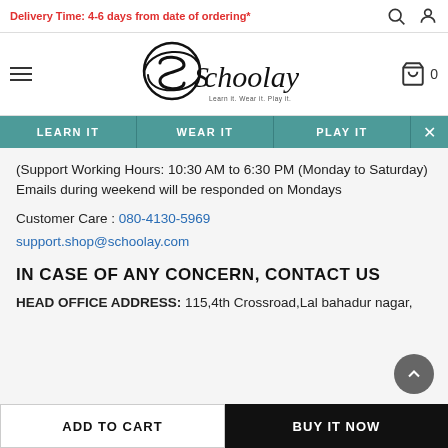Delivery Time: 4-6 days from date of ordering*
[Figure (logo): Schoolay logo with circular S and tagline Learn it. Wear it. Play it.]
LEARN IT  WEAR IT  PLAY IT
(Support Working Hours: 10:30 AM to 6:30 PM (Monday to Saturday)
Emails during weekend will be responded on Mondays
Customer Care : 080-4130-5969
support.shop@schoolay.com
IN CASE OF ANY CONCERN, CONTACT US
HEAD OFFICE ADDRESS: 115,4th Crossroad,Lal bahadur nagar,